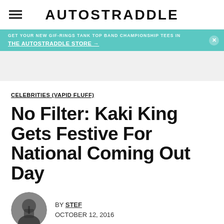AUTOSTRADDLE
GET YOUR NEW GIF-RINGS TANK TOP BAND CHAMPIONSHIP TEES IN THE AUTOSTRADDLE STORE →
[Figure (other): Gray advertisement placeholder banner]
CELEBRITIES (VAPID FLUFF)
No Filter: Kaki King Gets Festive For National Coming Out Day
BY STEF
OCTOBER 12, 2016